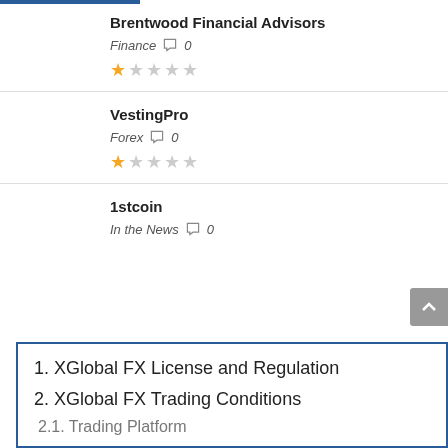Brentwood Financial Advisors
Finance  0  ★☆☆☆☆
VestingPro
Forex  0  ★☆☆☆☆
1stcoin
In the News  0
1. XGlobal FX License and Regulation
2. XGlobal FX Trading Conditions
2.1. Trading Platform